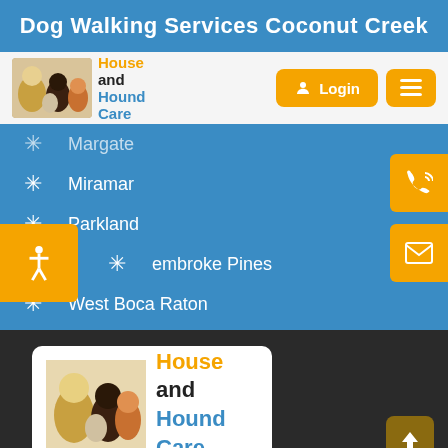Dog Walking Services Coconut Creek
[Figure (logo): House and Hound Care logo with dogs image and orange/blue text]
Margate
Miramar
Parkland
Pembroke Pines
West Boca Raton
[Figure (logo): House and Hound Care footer logo with dogs photo]